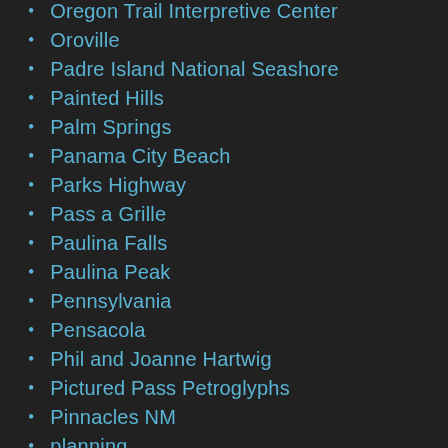Oregon Trail Interpretive Center
Oroville
Padre Island National Seashore
Painted Hills
Palm Springs
Panama City Beach
Parks Highway
Pass a Grille
Paulina Falls
Paulina Peak
Pennsylvania
Pensacola
Phil and Joanne Hartwig
Pictured Pass Petroglyphs
Pinnacles NM
planning